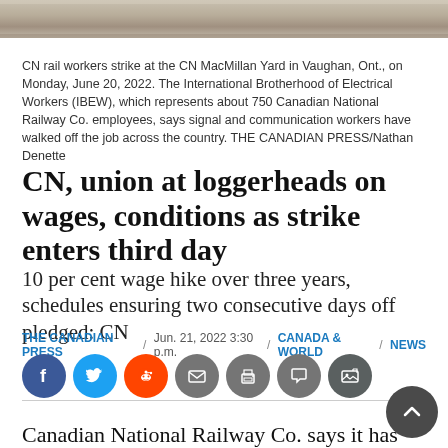[Figure (photo): CN rail workers strike at the CN MacMillan Yard in Vaughan, Ont. — photo strip at top of article]
CN rail workers strike at the CN MacMillan Yard in Vaughan, Ont., on Monday, June 20, 2022. The International Brotherhood of Electrical Workers (IBEW), which represents about 750 Canadian National Railway Co. employees, says signal and communication workers have walked off the job across the country. THE CANADIAN PRESS/Nathan Denette
CN, union at loggerheads on wages, conditions as strike enters third day
10 per cent wage hike over three years, schedules ensuring two consecutive days off pledged: CN
THE CANADIAN PRESS / Jun. 21, 2022 3:30 p.m. / CANADA & WORLD / NEWS
[Figure (infographic): Social sharing icons: Facebook, Twitter, Reddit, Email, Print, Comment, Photo gallery]
Canadian National Railway Co. says it has gone the extra mile to meet union demands amid a strike by signal and electrical workers, who say the concessions do not go far